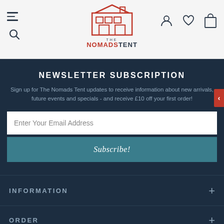[Figure (logo): The Nomads Tent logo — red line-art building/tent icon with THE NOMADSTENT text below]
NEWSLETTER SUBSCRIPTION
Sign up for The Nomads Tent updates to receive information about new arrivals, future events and specials - and receive £10 off your first order!
Enter Your Email Address
Subscribe!
INFORMATION
ORDER